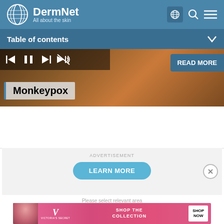[Figure (screenshot): DermNet website header with logo, tagline 'All about the skin', globe icon, search icon, and hamburger menu]
Table of contents
[Figure (screenshot): Media player strip showing monkeypox content with playback controls, READ MORE button, and 'Monkeypox' label overlay on animal fur background]
[Figure (screenshot): Advertisement section with LEARN MORE button and close button]
Please select relevant area
[Figure (photo): Victoria's Secret advertisement banner: SHOP THE COLLECTION with SHOP NOW button]